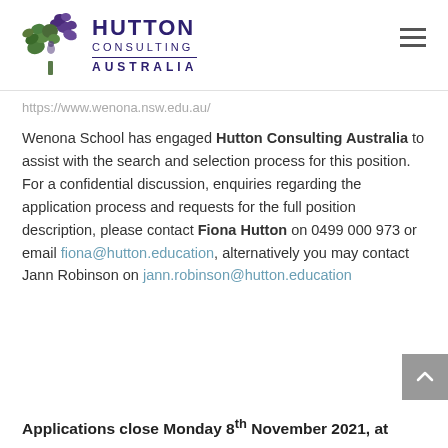[Figure (logo): Hutton Consulting Australia logo with stylized tree and text]
https://www.wenona.nsw.edu.au/
Wenona School has engaged Hutton Consulting Australia to assist with the search and selection process for this position. For a confidential discussion, enquiries regarding the application process and requests for the full position description, please contact Fiona Hutton on 0499 000 973 or email fiona@hutton.education, alternatively you may contact Jann Robinson on jann.robinson@hutton.education
Applications close Monday 8th November 2021, at